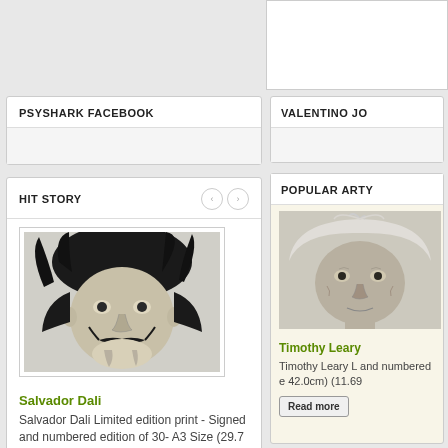PSYSHARK FACEBOOK
VALENTINO JO
HIT STORY
[Figure (photo): Black and white portrait drawing of Salvador Dali with wild hair and mustache]
Salvador Dali
Salvador Dali Limited edition print - Signed and numbered edition of 30- A3 Size (29.7 x 42.0cm) (11.69 x 16.53 i...
Read more
POPULAR ARTY
[Figure (photo): Black and white portrait drawing of Timothy Leary with white hair]
Timothy Leary
Timothy Leary L and numbered e 42.0cm) (11.69
Read more